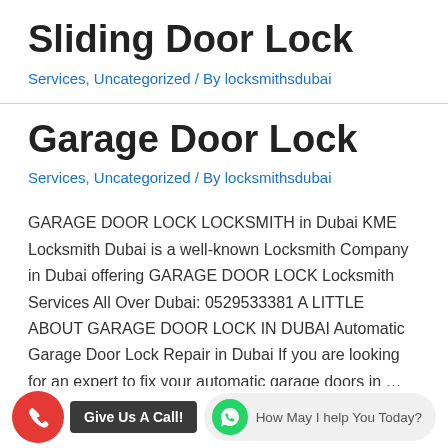Sliding Door Lock
Services, Uncategorized / By locksmithsdubai
Garage Door Lock
Services, Uncategorized / By locksmithsdubai
GARAGE DOOR LOCK LOCKSMITH in Dubai KME Locksmith Dubai is a well-known Locksmith Company in Dubai offering GARAGE DOOR LOCK Locksmith Services All Over Dubai: 0529533381 A LITTLE ABOUT GARAGE DOOR LOCK IN DUBAI Automatic Garage Door Lock Repair in Dubai If you are looking for an expert to fix your automatic garage doors in …
Read more »
[Figure (infographic): Red phone call button circle with Give Us A Call! label, and WhatsApp green circle with How May I help You Today? chat bubble]